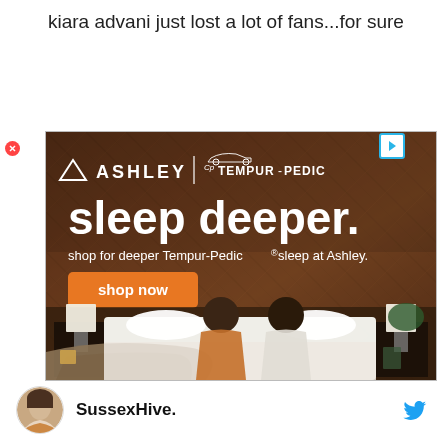kiara advani just lost a lot of fans...for sure
[Figure (advertisement): Ashley Furniture and Tempur-Pedic advertisement showing 'sleep deeper.' headline with a couple sitting on a white bed in a wood-paneled room, with orange 'shop now' button]
SussexHive.